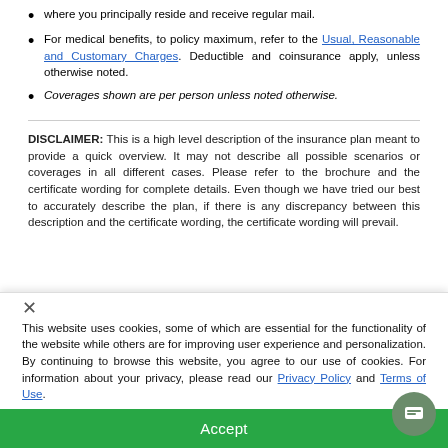where you principally reside and receive regular mail.
For medical benefits, to policy maximum, refer to the Usual, Reasonable and Customary Charges. Deductible and coinsurance apply, unless otherwise noted.
Coverages shown are per person unless noted otherwise.
DISCLAIMER: This is a high level description of the insurance plan meant to provide a quick overview. It may not describe all possible scenarios or coverages in all different cases. Please refer to the brochure and the certificate wording for complete details. Even though we have tried our best to accurately describe the plan, if there is any discrepancy between this description and the certificate wording, the certificate wording will prevail.
This website uses cookies, some of which are essential for the functionality of the website while others are for improving user experience and personalization. By continuing to browse this website, you agree to our use of cookies. For information about your privacy, please read our Privacy Policy and Terms of Use.